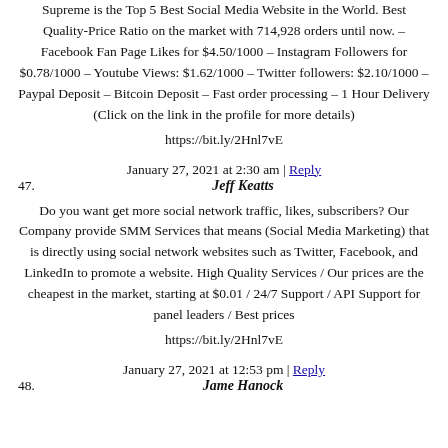Supreme is the Top 5 Best Social Media Website in the World. Best Quality-Price Ratio on the market with 714,928 orders until now. – Facebook Fan Page Likes for $4.50/1000 – Instagram Followers for $0.78/1000 – Youtube Views: $1.62/1000 – Twitter followers: $2.10/1000 – Paypal Deposit – Bitcoin Deposit – Fast order processing – 1 Hour Delivery (Click on the link in the profile for more details)
https://bit.ly/2Hnl7vE
January 27, 2021 at 2:30 am | Reply
47. Jeff Keatts
Do you want get more social network traffic, likes, subscribers? Our Company provide SMM Services that means (Social Media Marketing) that is directly using social network websites such as Twitter, Facebook, and LinkedIn to promote a website. High Quality Services / Our prices are the cheapest in the market, starting at $0.01 / 24/7 Support / API Support for panel leaders / Best prices
https://bit.ly/2Hnl7vE
January 27, 2021 at 12:53 pm | Reply
48. Jame Hanock